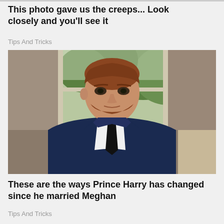This photo gave us the creeps... Look closely and you'll see it
Tips And Tricks
[Figure (photo): Photo of Prince Harry in a dark navy suit and black tie, with reddish-brown hair and beard, sitting in front of a window with green foliage visible outside]
These are the ways Prince Harry has changed since he married Meghan
Tips And Tricks